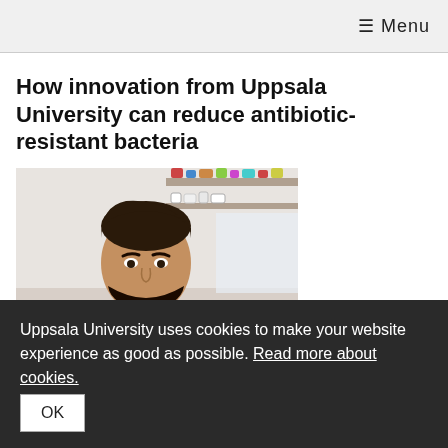≡ Menu
How innovation from Uppsala University can reduce antibiotic-resistant bacteria
[Figure (photo): Nikos Fatsis-Kavalopoulos, a researcher with dark beard wearing a white lab coat, working at a laboratory bench with bottles and lab equipment on shelves in the background.]
Nikos Fatsis-Kavalopoulos and his research colleagues have developed a new method to determine how effective a combination of two antibiotics can be in stopping...